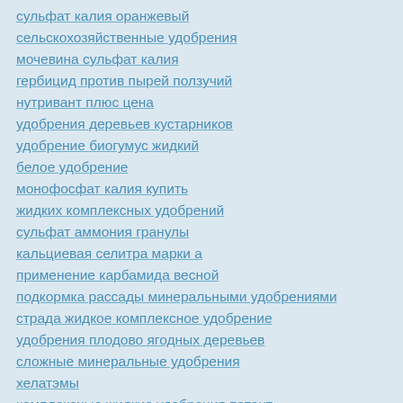сульфат калия оранжевый
сельскохозяйственные удобрения
мочевина сульфат калия
гербицид против пырей ползучий
нутривант плюс цена
удобрения деревьев кустарников
удобрение биогумус жидкий
белое удобрение
монофосфат калия купить
жидких комплексных удобрений
сульфат аммония гранулы
кальциевая селитра марки а
применение карбамида весной
подкормка рассады минеральными удобрениями
страда жидкое комплексное удобрение
удобрения плодово ягодных деревьев
сложные минеральные удобрения
хелатэмы
комплексные жидкие удобрения патент
марки минеральных удобрений
подкормка карбамидом
калиевая селитра купить минск
аммиачная селитра назначение
аммофос цена